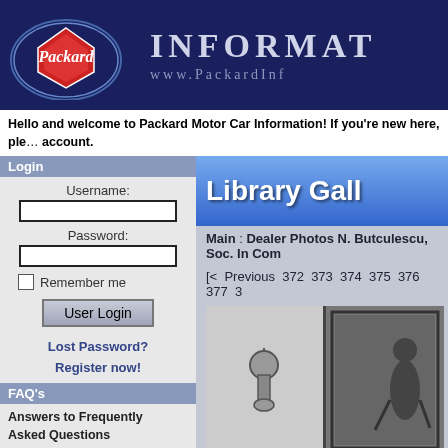[Figure (logo): Packard Motor Car Information website header banner with Packard logo on dark navy background, showing 'INFORMAT' and 'www.PackardInf' text]
Hello and welcome to Packard Motor Car Information! If you're new here, ple... account.
Login
Username:
Password:
Remember me
User Login
Lost Password?
Register now!
FAQ's
Answers to Frequently Asked Questions
Main Menu
Home
Forums
[Figure (screenshot): Library Gallery banner image with blue gradient background and white bold text 'Library Gall']
Main : Dealer Photos N. Butculescu, Soc. In Com...
[< Previous 372 373 374 375 376 377 3...
[Figure (photo): Two-part black and white photograph showing a decorative emblem on the left (lighter background) and a scene on the right (darker background with border)]